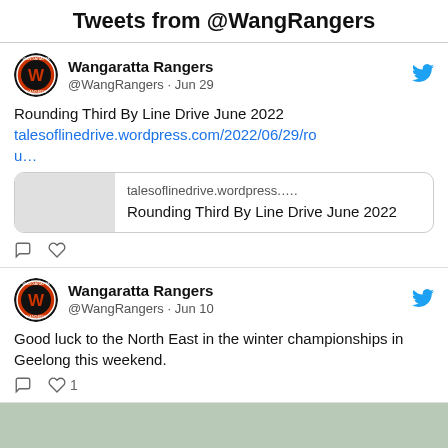Tweets from @WangRangers
Wangaratta Rangers @WangRangers · Jun 29
Rounding Third By Line Drive June 2022 talesoflinedrive.wordpress.com/2022/06/29/ro u…
[Figure (screenshot): Link preview card showing talesoflinedrive.wordpress.... Rounding Third By Line Drive June 2022]
Wangaratta Rangers @WangRangers · Jun 10
Good luck to the North East in the winter championships in Geelong this weekend.